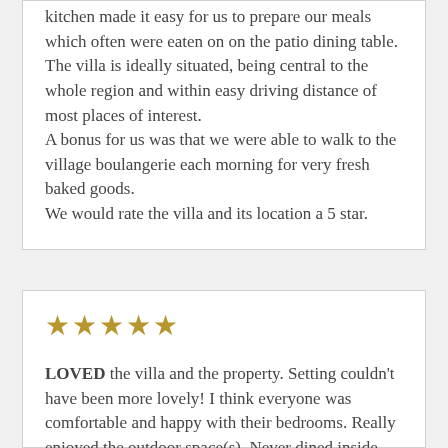kitchen made it easy for us to prepare our meals which often were eaten on on the patio dining table. The villa is ideally situated, being central to the whole region and within easy driving distance of most places of interest. A bonus for us was that we were able to walk to the village boulangerie each morning for very fresh baked goods. We would rate the villa and its location a 5 star.
[Figure (other): Five gold star rating icons]
LOVED the villa and the property. Setting couldn't have been more lovely! I think everyone was comfortable and happy with their bedrooms. Really enjoyed the outdoor space(s). Never dined inside one time.